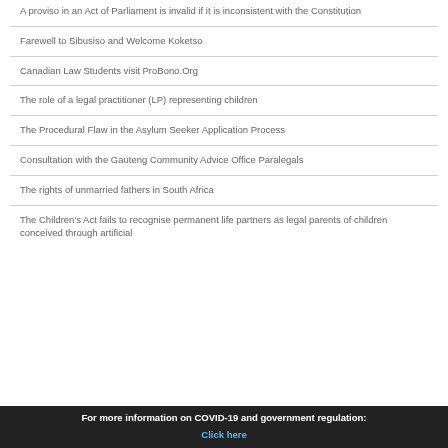A proviso in an Act of Parliament is invalid if it is inconsistent with the Constitution
Farewell to Sibusiso and Welcome Koketso
Canadian Law Students visit ProBono.Org
The role of a legal practitioner (LP) representing children
The Procedural Flaw in the Asylum Seeker Application Process
Consultation with the Gauteng Community Advice Office Paralegals
The rights of unmarried fathers in South Africa
The Children's Act fails to recognise permanent life partners as legal parents of children conceived through artificial
For more information on COVID-19 and government regulation: Click here